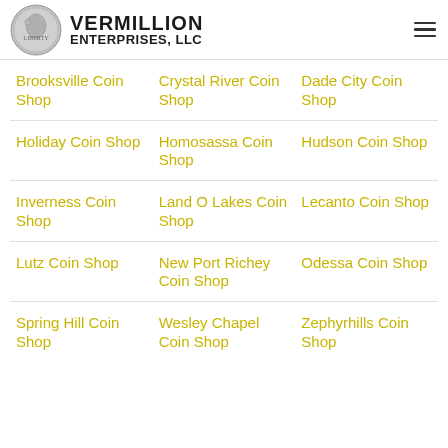[Figure (logo): Vermillion Enterprises, LLC logo with coin image and bold text]
Brooksville Coin Shop
Crystal River Coin Shop
Dade City Coin Shop
Holiday Coin Shop
Homosassa Coin Shop
Hudson Coin Shop
Inverness Coin Shop
Land O Lakes Coin Shop
Lecanto Coin Shop
Lutz Coin Shop
New Port Richey Coin Shop
Odessa Coin Shop
Spring Hill Coin Shop
Wesley Chapel Coin Shop
Zephyrhills Coin Shop